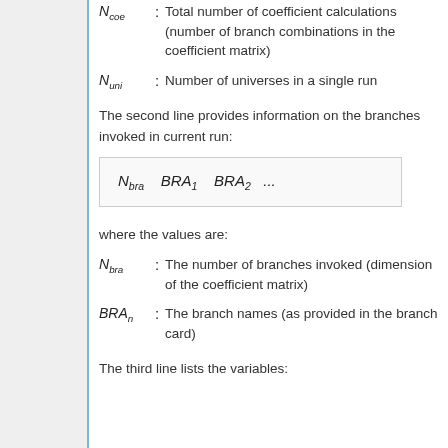N_coe : Total number of coefficient calculations (number of branch combinations in the coefficient matrix)
N_uni : Number of universes in a single run
The second line provides information on the branches invoked in current run:
where the values are:
N_bra : The number of branches invoked (dimension of the coefficient matrix)
BRA_n : The branch names (as provided in the branch card)
The third line lists the variables: